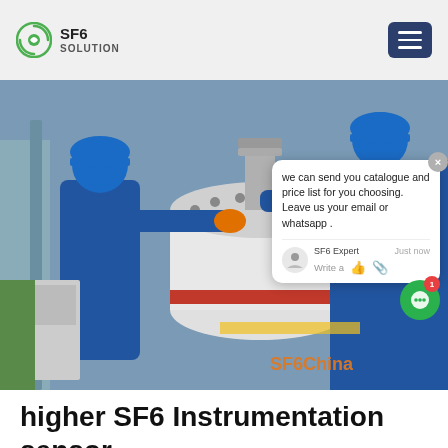SF6 SOLUTION
[Figure (photo): Two workers in blue coveralls and blue hard hats working on a large white SF6 gas-insulated switchgear vessel outdoors, with industrial pipes and structures in the background. Watermark text 'SF6China' in orange at bottom right.]
we can send you catalogue and price list for you choosing. Leave us your email or whatsapp .
higher SF6 Instrumentation sensor
sensors for gas-insulated switchgears (GIS) The